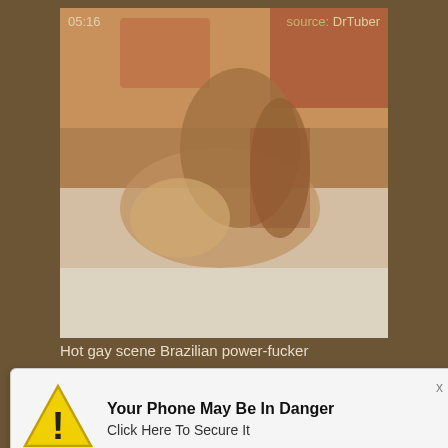[Figure (screenshot): Video thumbnail showing two people on a bed, with timestamp 05:16 in top-left and source label 'DrTuber' in top-right]
Hot gay scene Brazilian power-fucker
[Figure (screenshot): Pop-up notification: 'Your Phone May Be In Danger — Click Here To Secure It' with yellow warning triangle icon and X close button]
[Figure (screenshot): Partial video thumbnail visible behind second pop-up]
[Figure (screenshot): Second pop-up notification: 'Your Phone May Be In Danger — Click Here To Secure It' with yellow warning triangle icon and X close button]